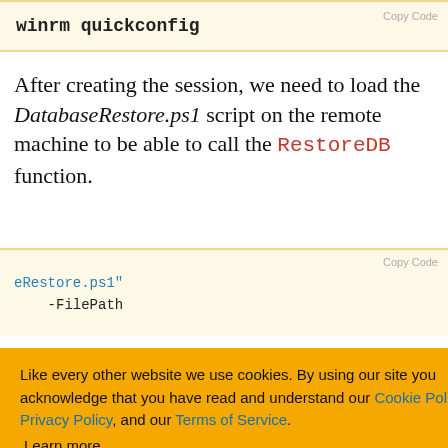Copy Code
winrm quickconfig
After creating the session, we need to load the DatabaseRestore.ps1 script on the remote machine to be able to call the RestoreDB function.
Copy Code
eRestore.ps1"
-FilePath
be loaded
abled on the
at the
nrestricted (Set-
Like every other website we use cookies. By using our site you acknowledge that you have read and understand our Cookie Policy, Privacy Policy, and our Terms of Service.
Learn more
Ask me later  Decline  Allow cookies